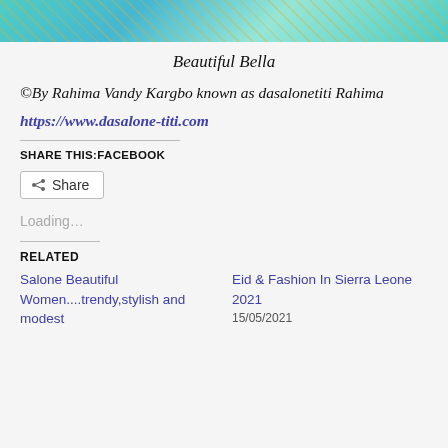[Figure (photo): Top portion of a photo showing a person wearing a bright turquoise/teal outfit with gold geometric pattern embroidery]
Beautiful Bella
©By Rahima Vandy Kargbo known as dasalonetiti Rahima
https://www.dasalone-titi.com
SHARE THIS:FACEBOOK
Share
Loading...
RELATED
Salone Beautiful Women....trendy,stylish and modest
Eid & Fashion In Sierra Leone 2021
15/05/2021